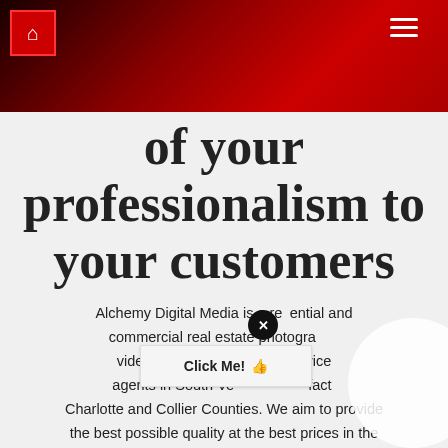Navigation header with home icon and hamburger menu
of your professionalism to your customers
Alchemy Digital Media is a residential and commercial real estate photography videography provider service agents in South Venice and in fact Charlotte and Collier Counties. We aim to provide the best possible quality at the best prices in the